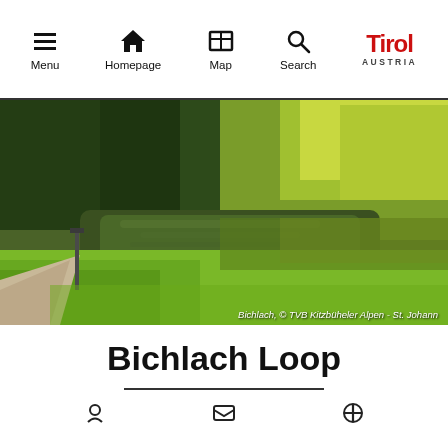Menu | Homepage | Map | Search | Tirol AUSTRIA
[Figure (photo): Scenic landscape photo showing a gravel path along a reflective pond with green grass and forested hillside with yellow-green autumn trees. Caption: Bichlach, © TVB Kitzbüheler Alpen - St. Johann]
Bichlach, © TVB Kitzbüheler Alpen - St. Johann
Bichlach Loop